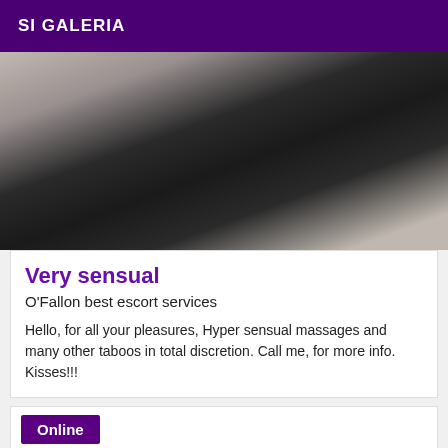SI GALERIA
[Figure (photo): A person wearing a black dress photographed from the neck down in a mirror selfie setting]
Very sensual
O'Fallon best escort services
Hello, for all your pleasures, Hyper sensual massages and many other taboos in total discretion. Call me, for more info. Kisses!!!
Online